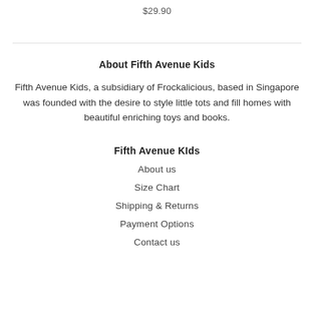$29.90
About Fifth Avenue Kids
Fifth Avenue Kids, a subsidiary of Frockalicious, based in Singapore was founded with the desire to style little tots and fill homes with beautiful enriching toys and books.
Fifth Avenue KIds
About us
Size Chart
Shipping & Returns
Payment Options
Contact us